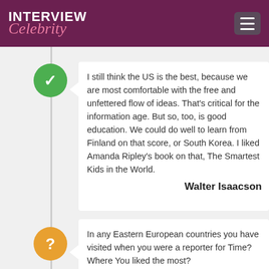INTERVIEW Celebrity
I still think the US is the best, because we are most comfortable with the free and unfettered flow of ideas. That's critical for the information age. But so, too, is good education. We could do well to learn from Finland on that score, or South Korea. I liked Amanda Ripley's book on that, The Smartest Kids in the World.
Walter Isaacson
In any Eastern European countries you have visited when you were a reporter for Time? Where You liked the most?
ellochka2013